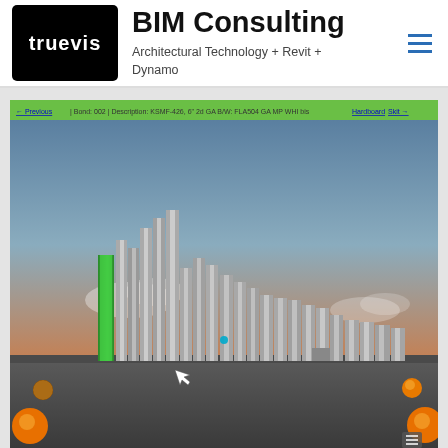[Figure (logo): truevis logo — white text on black rounded rectangle]
BIM Consulting
Architectural Technology + Revit + Dynamo
[Figure (screenshot): A 3D Revit/Dynamo BIM model screenshot showing a stepped building facade with grey vertical fins/panels, one highlighted in green, viewed in a 3D viewport. Green navigation bar at top with breadcrumb text. Dark grey ground plane with orange sphere objects in corners. Sky background with clouds.]